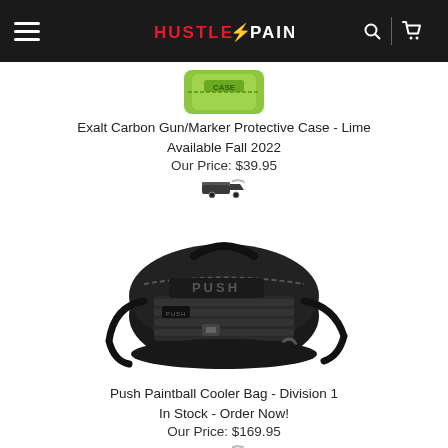Hustle Paintball - navigation header
[Figure (photo): Partial view of Exalt Carbon Gun/Marker Protective Case in Lime color]
Exalt Carbon Gun/Marker Protective Case - Lime
Available Fall 2022
Our Price: $39.95
[Figure (photo): Shipping truck icon for first product]
[Figure (photo): Push Paintball Cooler Bag - Division 1, black duffel bag with PUSH branding]
Push Paintball Cooler Bag - Division 1
In Stock - Order Now!
Our Price: $169.95
[Figure (photo): Shipping truck icon for second product]